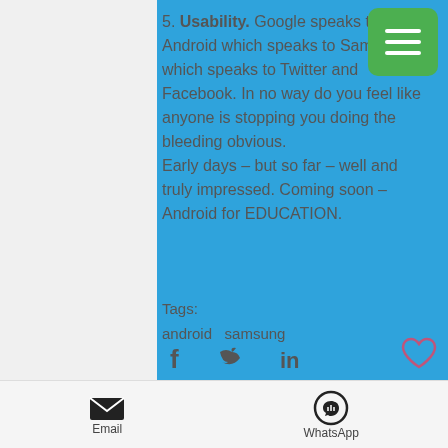5. Usability. Google speaks to Android which speaks to Samsung which speaks to Twitter and Facebook. In no way do you feel like anyone is stopping you doing the bleeding obvious. Early days – but so far – well and truly impressed. Coming soon – Android for EDUCATION.
Tags:
android   samsung
[Figure (other): Social share icons: Facebook, Twitter, LinkedIn]
[Figure (other): Heart/like icon]
[Figure (other): Bottom share bar with Email and WhatsApp options]